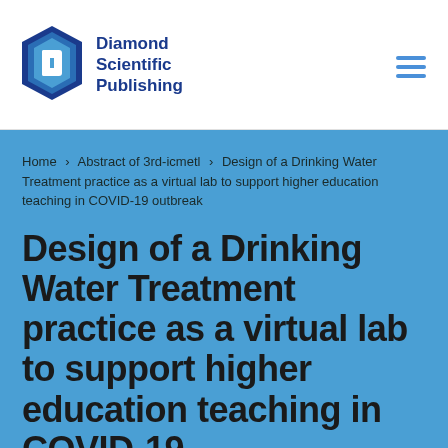[Figure (logo): Diamond Scientific Publishing logo with hexagonal blue diamond shape icon and text]
Diamond Scientific Publishing
Home > Abstract of 3rd-icmetl > Design of a Drinking Water Treatment practice as a virtual lab to support higher education teaching in COVID-19 outbreak
Design of a Drinking Water Treatment practice as a virtual lab to support higher education teaching in COVID-19